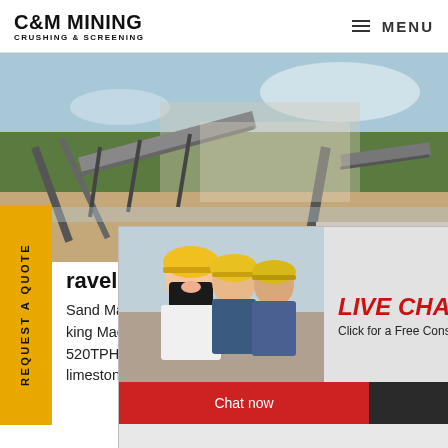C&M MINING CRUSHING & SCREENING | MENU
[Figure (photo): Mining / crushing and screening plant with conveyors and industrial equipment, outdoor setting with trees and dust in background]
REQUEST A QUOTE
[Figure (photo): Live chat popup with workers in hard hats and text: LIVE CHAT - Click for a Free Consultation; Chat now and Chat later buttons]
[Figure (photo): Customer service agent (woman with headset) with overlay: Have any requests, click here. Quotation button. Close button (X).]
ravel sand making machine
Sand Making Machine Gravel M king Machine. Input Size: 0-50m 520TPH; Material: Granite, quartz, limestone, dolomite, etc. VSI sand